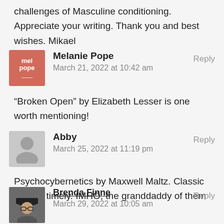challenges of Masculine conditioning. Appreciate your writing. Thank you and best wishes. Mikael
Melanie Pope
March 21, 2022 at 10:42 am
Reply
“Broken Open” by Elizabeth Lesser is one worth mentioning!
Abby
March 25, 2022 at 11:19 pm
Reply
Psychocybernetics by Maxwell Maltz. Classic but still timely. IMHO, the granddaddy of them all.
Brenda Finne
March 29, 2022 at 10:05 am
Reply
Hi Nick, I read all types of memoirs. Some are